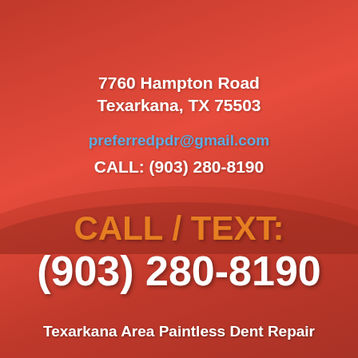7760 Hampton Road
Texarkana, TX 75503
preferredpdr@gmail.com
CALL: (903) 280-8190
CALL / TEXT:
(903) 280-8190
Texarkana Area Paintless Dent Repair